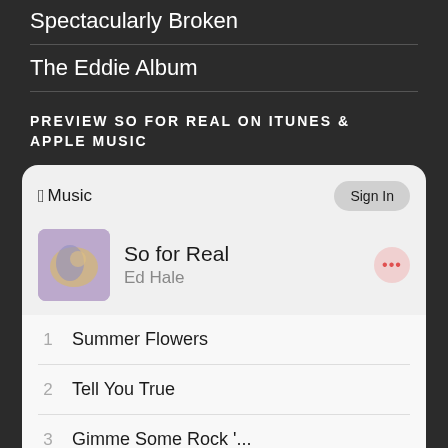Spectacularly Broken
The Eddie Album
PREVIEW SO FOR REAL ON ITUNES & APPLE MUSIC
[Figure (screenshot): Apple Music widget preview showing the album 'So for Real' by Ed Hale with tracklist: 1 Summer Flowers, 2 Tell You True, 3 Gimme Some Rock '..., 4 The Prince of New ..., 5 Stephanie's Song (It...]